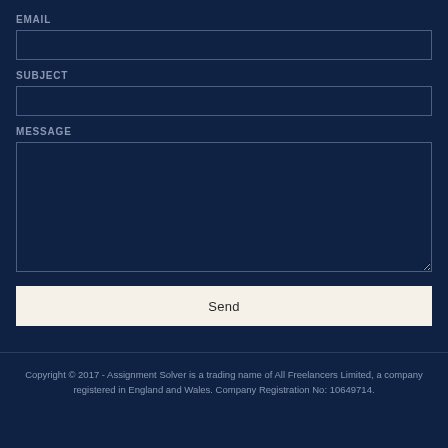EMAIL
SUBJECT
MESSAGE
Send
Copyright © 2017 - Assignment Solver is a trading name of All Freelancers Limited, a company registered in England and Wales. Company Registration No: 10649714.